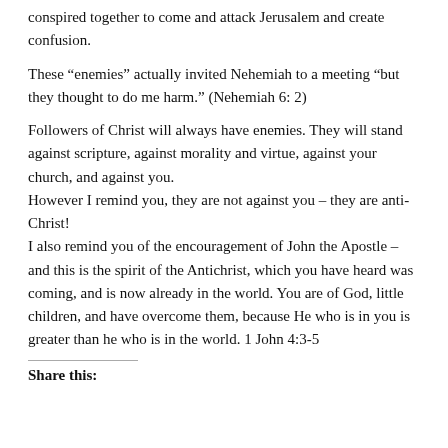conspired together to come and attack Jerusalem and create confusion.
These “enemies” actually invited Nehemiah to a meeting “but they thought to do me harm.” (Nehemiah 6: 2)
Followers of Christ will always have enemies. They will stand against scripture, against morality and virtue, against your church, and against you.
However I remind you, they are not against you – they are anti-Christ!
I also remind you of the encouragement of John the Apostle – and this is the spirit of the Antichrist, which you have heard was coming, and is now already in the world. You are of God, little children, and have overcome them, because He who is in you is greater than he who is in the world. 1 John 4:3-5
Share this: